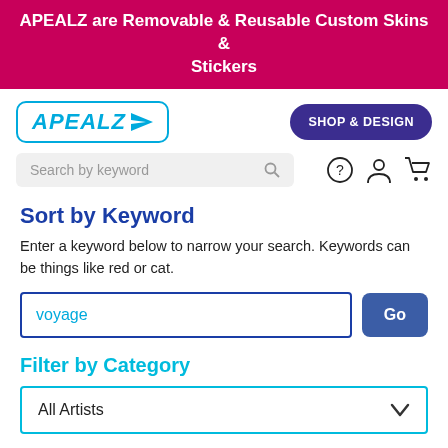APEALZ are Removable & Reusable Custom Skins & Stickers
[Figure (logo): APEALZ logo with cyan border and airplane icon]
[Figure (other): SHOP & DESIGN button (dark purple, rounded)]
[Figure (other): Search bar with keyword placeholder and icons for help, account, cart]
Sort by Keyword
Enter a keyword below to narrow your search. Keywords can be things like red or cat.
[Figure (other): Keyword input field with 'voyage' text and blue Go button]
Filter by Category
[Figure (other): Dropdown selector showing 'All Artists' with chevron]